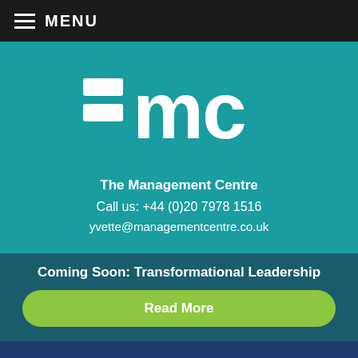MENU
[Figure (logo): =mc logo — two horizontal rectangles on left side and 'mc' text in white on teal background]
The Management Centre
Call us: +44 (0)20 7978 1516
yvette@managementcentre.co.uk
Coming Soon: Transformational Leadership
Read More
Stop listening to your supporters